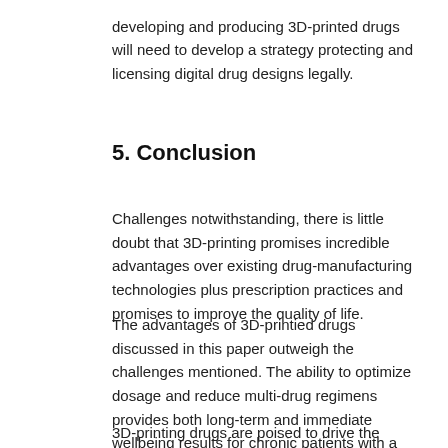developing and producing 3D-printed drugs will need to develop a strategy protecting and licensing digital drug designs legally.
5.   Conclusion
Challenges notwithstanding, there is little doubt that 3D-printing promises incredible advantages over existing drug-manufacturing technologies plus prescription practices and promises to improve the quality of life.
The advantages of 3D-printied drugs discussed in this paper outweigh the challenges mentioned. The ability to optimize dosage and reduce multi-drug regimens provides both long-term and immediate wellbeing results for chronic patients with a range of ailments.
3D-printing drugs are poised to drive the adoption of PM, and the benefit it brings to reducing medication-related